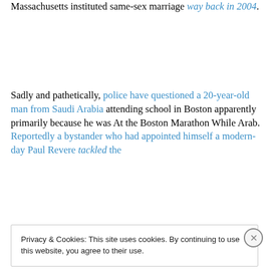Massachusetts instituted same-sex marriage way back in 2004.
Sadly and pathetically, police have questioned a 20-year-old man from Saudi Arabia attending school in Boston apparently primarily because he was At the Boston Marathon While Arab. Reportedly a bystander who had appointed himself a modern-day Paul Revere tackled the
Privacy & Cookies: This site uses cookies. By continuing to use this website, you agree to their use.
To find out more, including how to control cookies, see here: Cookie Policy